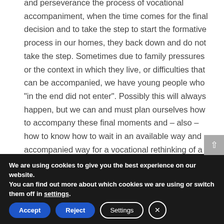and perseverance the process of vocational accompaniment, when the time comes for the final decision and to take the step to start the formative process in our homes, they back down and do not take the step. Sometimes due to family pressures or the context in which they live, or difficulties that can be accompanied, we have young people who "in the end did not enter". Possibly this will always happen, but we can and must plan ourselves how to accompany these final moments and – also – how to know how to wait in an available way and accompanied way for a vocational rethinking of a young man who at the time
We are using cookies to give you the best experience on our website.
You can find out more about which cookies we are using or switch them off in settings.